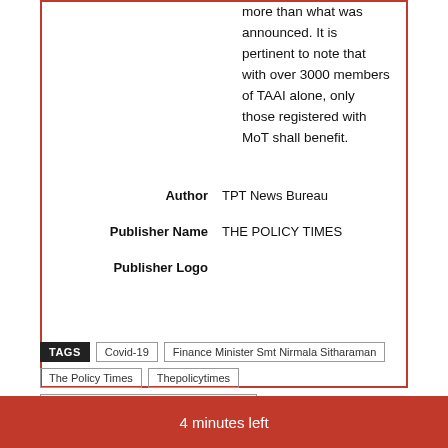more than what was announced. It is pertinent to note that with over 3000 members of TAAI alone, only those registered with MoT shall benefit.
Author  TPT News Bureau
Publisher Name  THE POLICY TIMES
Publisher Logo
TAGS  Covid-19  Finance Minister Smt Nirmala Sitharaman  The Policy Times  Thepolicytimes  Travel Agents Association of India (TAAI)
4 minutes left